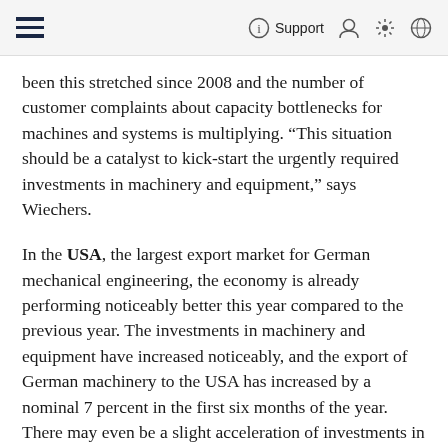Support
been this stretched since 2008 and the number of customer complaints about capacity bottlenecks for machines and systems is multiplying. “This situation should be a catalyst to kick-start the urgently required investments in machinery and equipment,” says Wiechers.
In the USA, the largest export market for German mechanical engineering, the economy is already performing noticeably better this year compared to the previous year. The investments in machinery and equipment have increased noticeably, and the export of German machinery to the USA has increased by a nominal 7 percent in the first six months of the year. There may even be a slight acceleration of investments in 2018 in light of the improved sales and return expectations. “However, there are still more uncertainties than there are certainties in terms of the prospective government policies of the US President, Donald Trump. We